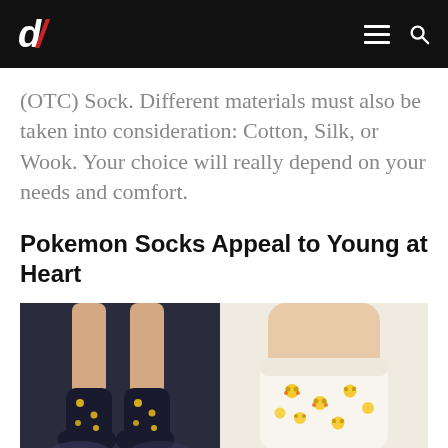d/ (logo) with hamburger menu and search icon
(OTC) Sock. Different materials must also be taken into consideration: Cotton, Silk, or Wook. Your choice will really depend on your needs and comfort.
Pokemon Socks Appeal to Young at Heart
[Figure (photo): Two photos side by side: left photo shows legs wearing black Pokemon (Pikachu) patterned crew socks against a dark navy background; right photo shows a close-up of white/cream Pokemon (Pikachu) patterned sock on a leg against a light cream background.]